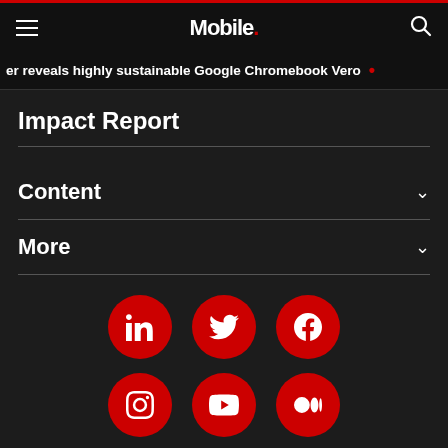Mobile.
er reveals highly sustainable Google Chromebook Vero
Impact Report
Content
More
[Figure (infographic): Six red circular social media icon buttons arranged in two rows of three: LinkedIn, Twitter, Facebook (top row); Instagram, YouTube, Medium (bottom row)]